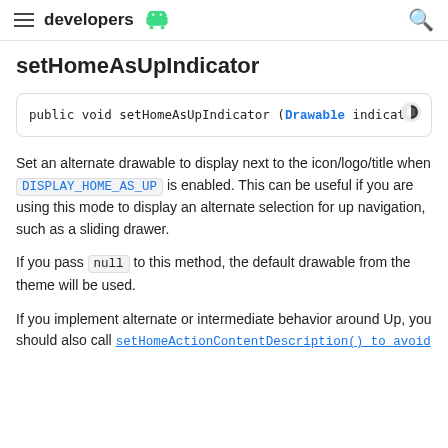developers
setHomeAsUpIndicator
public void setHomeAsUpIndicator (Drawable indicator
Set an alternate drawable to display next to the icon/logo/title when DISPLAY_HOME_AS_UP is enabled. This can be useful if you are using this mode to display an alternate selection for up navigation, such as a sliding drawer.
If you pass null to this method, the default drawable from the theme will be used.
If you implement alternate or intermediate behavior around Up, you should also call